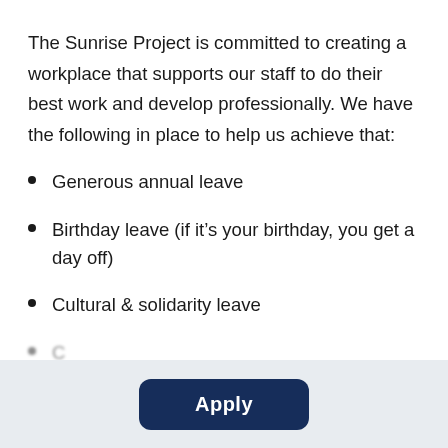The Sunrise Project is committed to creating a workplace that supports our staff to do their best work and develop professionally. We have the following in place to help us achieve that:
Generous annual leave
Birthday leave (if it’s your birthday, you get a day off)
Cultural & solidarity leave
C... (partially visible)